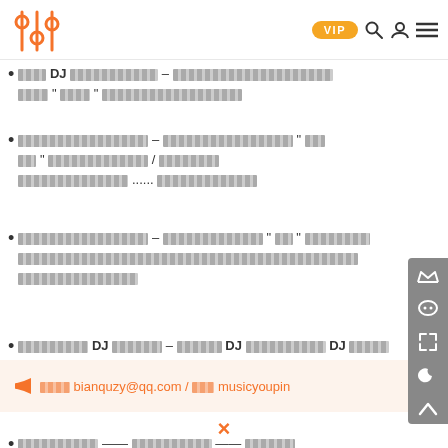[Logo] VIP [search] [user] [menu]
[redacted] DJ [redacted] – [redacted][redacted][redacted]
[redacted] – [redacted][redacted][redacted]/[redacted]......[redacted]
[redacted] – [redacted][redacted][redacted][redacted]
[redacted] DJ[redacted] – [redacted] DJ [redacted] DJ[redacted]
[icon] [redacted]bianquzy@qq.com / [redacted]musicyoupin
[redacted]——[redacted]——[redacted]